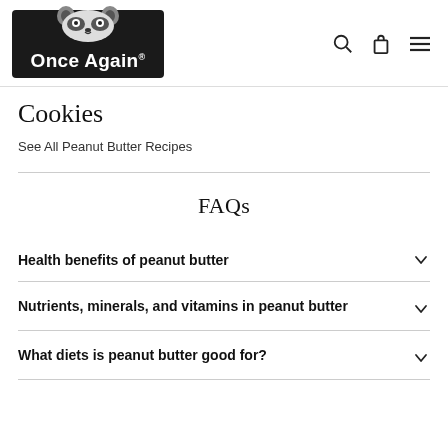[Figure (logo): Once Again brand logo with raccoon mascot on black background]
Cookies
See All Peanut Butter Recipes
FAQs
Health benefits of peanut butter
Nutrients, minerals, and vitamins in peanut butter
What diets is peanut butter good for?